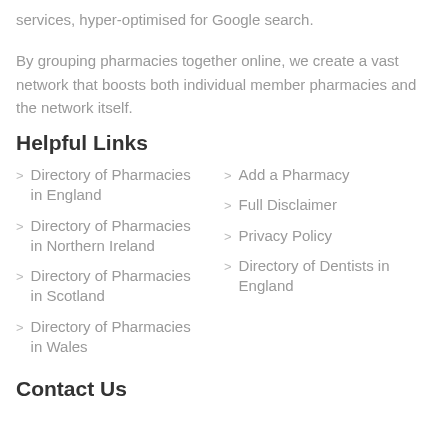services, hyper-optimised for Google search.
By grouping pharmacies together online, we create a vast network that boosts both individual member pharmacies and the network itself.
Helpful Links
Directory of Pharmacies in England
Directory of Pharmacies in Northern Ireland
Directory of Pharmacies in Scotland
Directory of Pharmacies in Wales
Add a Pharmacy
Full Disclaimer
Privacy Policy
Directory of Dentists in England
Contact Us